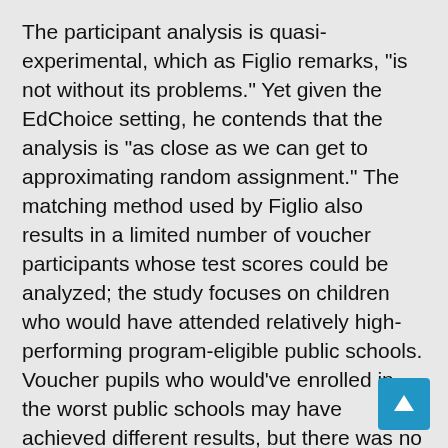The participant analysis is quasi-experimental, which as Figlio remarks, "is not without its problems." Yet given the EdChoice setting, he contends that the analysis is "as close as we can get to approximating random assignment." The matching method used by Figlio also results in a limited number of voucher participants whose test scores could be analyzed; the study focuses on children who would have attended relatively high-performing program-eligible public schools. Voucher pupils who would've enrolled in the worst public schools may have achieved different results, but there was no credible way of measuring those results.
Other possible explanations include the lack of alignment between private schools' curricula and state exams and a lack of emphasis on state